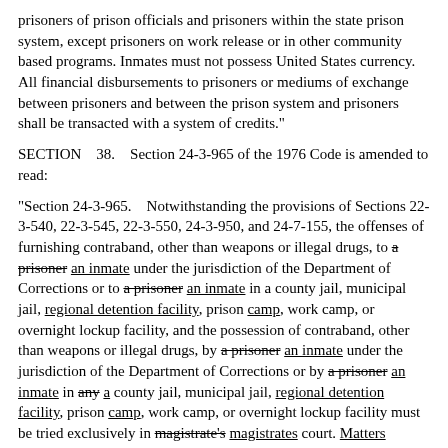prisoners of prison officials and prisoners within the state prison system, except prisoners on work release or in other community based programs. Inmates must not possess United States currency. All financial disbursements to prisoners or mediums of exchange between prisoners and between the prison system and prisoners shall be transacted with a system of credits."
SECTION    38.    Section 24-3-965 of the 1976 Code is amended to read:
"Section 24-3-965.    Notwithstanding the provisions of Sections 22-3-540, 22-3-545, 22-3-550, 24-3-950, and 24-7-155, the offenses of furnishing contraband, other than weapons or illegal drugs, to a prisoner an inmate under the jurisdiction of the Department of Corrections or to a prisoner an inmate in a county jail, municipal jail, regional detention facility, prison camp, work camp, or overnight lockup facility, and the possession of contraband, other than weapons or illegal drugs, by a prisoner an inmate under the jurisdiction of the Department of Corrections or by a prisoner an inmate in any a county jail, municipal jail, regional detention facility, prison camp, work camp, or overnight lockup facility must be tried exclusively in magistrate's magistrates court. Matters considered contraband within the meaning of this section are those which are designated as contraband by the Director of the Department of Corrections or by the local facility manager."